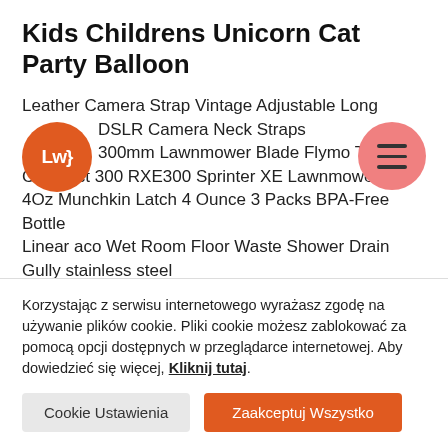Kids Childrens Unicorn Cat Party Balloon
Leather Camera Strap Vintage Adjustable Long DSLR Camera Neck Straps
300mm Lawnmower Blade Flymo Turbo Compact 300 RXE300 Sprinter XE Lawnmower
4Oz Munchkin Latch 4 Ounce 3 Packs BPA-Free Bottle
Linear aco Wet Room Floor Waste Shower Drain Gully stainless steel
Waterford Crystalline... (truncated)
Korzystając z serwisu internetowego wyrażasz zgodę na używanie plików cookie. Pliki cookie możesz zablokować za pomocą opcji dostępnych w przeglądarce internetowej. Aby dowiedzieć się więcej, Kliknij tutaj.
Cookie Ustawienia
Zaakceptuj Wszystko